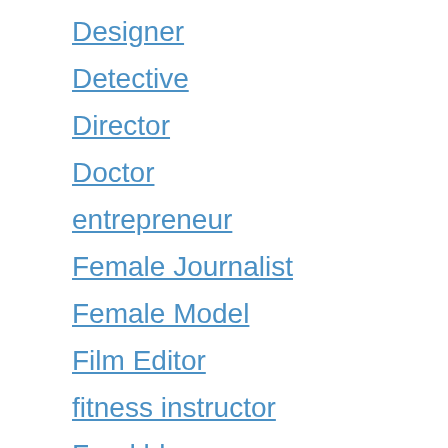Designer
Detective
Director
Doctor
entrepreneur
Female Journalist
Female Model
Film Editor
fitness instructor
Food blogger
football coach
Footballer
former soccer player